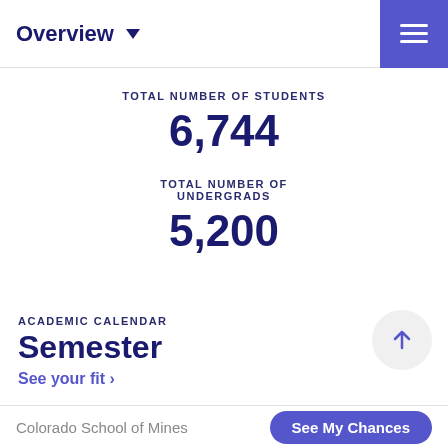Overview
TOTAL NUMBER OF STUDENTS
6,744
TOTAL NUMBER OF UNDERGRADS
5,200
ACADEMIC CALENDAR
Semester
See your fit ›
Colorado School of Mines  See My Chances